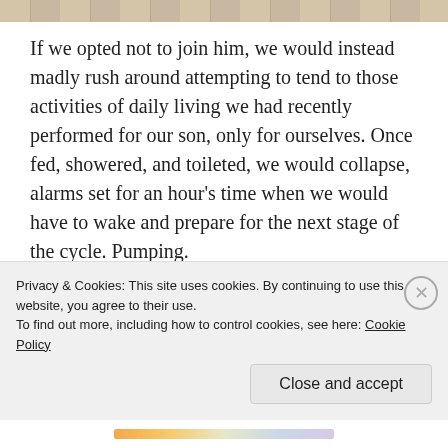[Figure (photo): Top strip showing partial image of baby crib or nursery items]
If we opted not to join him, we would instead madly rush around attempting to tend to those activities of daily living we had recently performed for our son, only for ourselves. Once fed, showered, and toileted, we would collapse, alarms set for an hour's time when we would have to wake and prepare for the next stage of the cycle. Pumping.
To encourage along the milk production, as well as to allow me the pleasure of administering life-giving nutrition to our baby even given my lactation deficit, we
Privacy & Cookies: This site uses cookies. By continuing to use this website, you agree to their use.
To find out more, including how to control cookies, see here: Cookie Policy
Close and accept